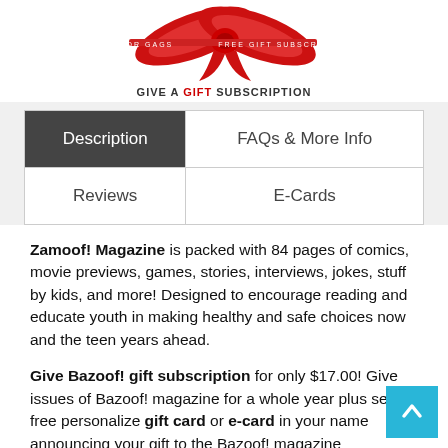[Figure (logo): Give a Gift Subscription logo with red ribbon bow above text reading GIVE A GIFT SUBSCRIPTION]
| Description | FAQs & More Info |
| --- | --- |
| Reviews | E-Cards |
Zamoof! Magazine is packed with 84 pages of comics, movie previews, games, stories, interviews, jokes, stuff by kids, and more! Designed to encourage reading and educate youth in making healthy and safe choices now and the teen years ahead.
Give Bazoof! gift subscription for only $17.00! Give issues of Bazoof! magazine for a whole year plus send a free personalize gift card or e-card in your name announcing your gift to the Bazoof! magazine subscription.